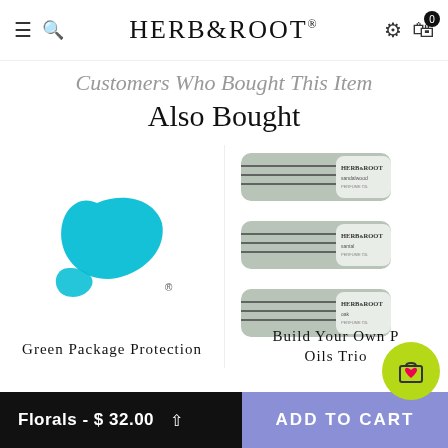HERB&ROOT
Customers Who Bought This Item Also Bought
[Figure (logo): Herb & Root teal/cyan brand mark logo — two abstract swoosh shapes in cyan-teal color]
Green Package Protection
[Figure (photo): Three Herb & Root perfume oil roller products stacked: sandalwood, santal, and oak scents, with gray-blue packaging and botanical illustrations]
Build Your Own Perfume Oils Trio
Florals - $ 32.00   ADD TO CART